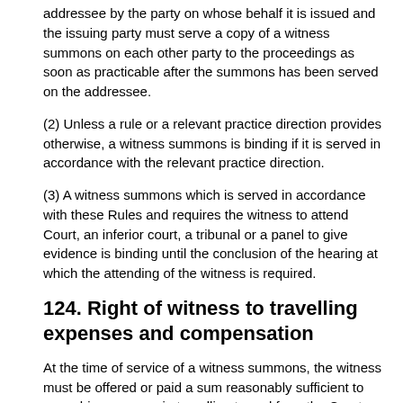addressee by the party on whose behalf it is issued and the issuing party must serve a copy of a witness summons on each other party to the proceedings as soon as practicable after the summons has been served on the addressee.
(2) Unless a rule or a relevant practice direction provides otherwise, a witness summons is binding if it is served in accordance with the relevant practice direction.
(3) A witness summons which is served in accordance with these Rules and requires the witness to attend Court, an inferior court, a tribunal or a panel to give evidence is binding until the conclusion of the hearing at which the attending of the witness is required.
124. Right of witness to travelling expenses and compensation
At the time of service of a witness summons, the witness must be offered or paid a sum reasonably sufficient to cover his expenses in travelling to and from the Court and such sum by way of compensation for loss of time as may be specified in a relevant...